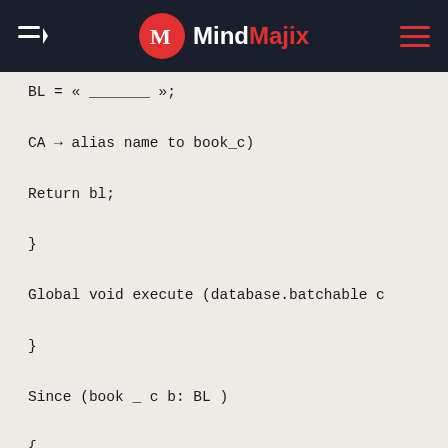MindMajix
BL = « _______ »;
CA → alias name to book_c)
Return bl;
}
Global void execute (database.batchable c
}
Since (book _ c b: BL )
{
System. Debug ('book name:' +b.name);
}
For (book_c  b: bl)
{
If (b. name ==' chemistry')
{
b. price = c = 200;